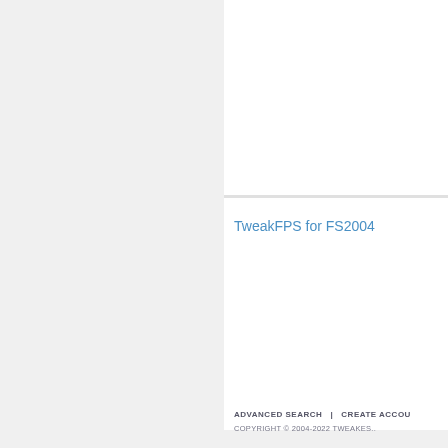TweakFPS for FS2004
ADVANCED SEARCH  |  CREATE ACCOU...
COPYRIGHT © 2004-2022 TWEAKES...